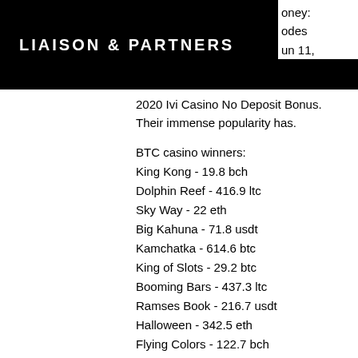LIAISON & PARTNERS
2020 Ivi Casino No Deposit Bonus. Their immense popularity has.
BTC casino winners:
King Kong - 19.8 bch
Dolphin Reef - 416.9 ltc
Sky Way - 22 eth
Big Kahuna - 71.8 usdt
Kamchatka - 614.6 btc
King of Slots - 29.2 btc
Booming Bars - 437.3 ltc
Ramses Book - 216.7 usdt
Halloween - 342.5 eth
Flying Colors - 122.7 bch
Ocean Treasure - 550.3 ltc
Rainbow Jackpots - 605.6 eth
Hot Scatter - 24.4 eth
Classico - 184.1 ltc
Vegas Wins - 293.1 dog